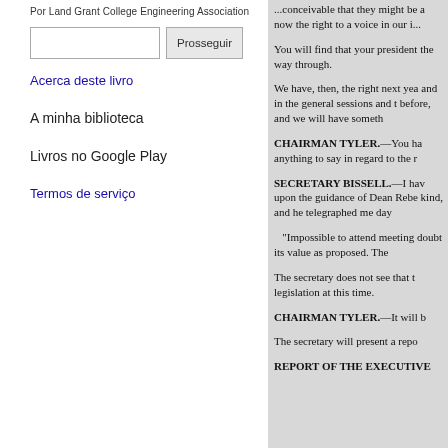Por Land Grant College Engineering Association
Prosseguir
Acerca deste livro
A minha biblioteca
Livros no Google Play
Termos de serviço
...conceivable that they might be a now the right to a voice in our i... You will find that your president the way through. We have, then, the right next yea and in the general sessions and t before, and we will have someth CHAIRMAN TYLER.—You ha anything to say in regard to the r SECRETARY BISSELL.—I hav upon the guidance of Dean Rebe kind, and he telegraphed me day "Impossible to attend meeting doubt its value as proposed. The The secretary does not see that t legislation at this time. CHAIRMAN TYLER.—It will b The secretary will present a repo REPORT OF THE EXECUTIVE